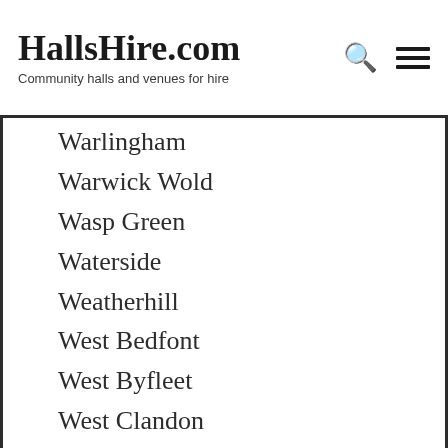HallsHire.com — Community halls and venues for hire
Warlingham
Warwick Wold
Wasp Green
Waterside
Weatherhill
West Bedfont
West Byfleet
West Clandon
West End
West End
West Ewell
West Horsley
West Molesey
Westbrook
Westcott
Westfield